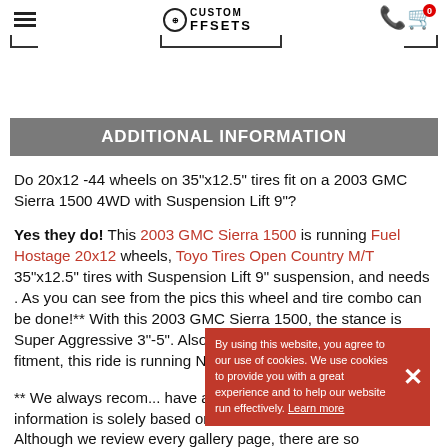Custom Offsets navigation header with hamburger menu, logo, search bar, phone and cart icons
ADDITIONAL INFORMATION
Do 20x12 -44 wheels on 35"x12.5" tires fit on a 2003 GMC Sierra 1500 4WD with Suspension Lift 9"?
Yes they do! This 2003 GMC Sierra 1500 is running Fuel Hostage 20x12 wheels, Toyo Tires Open Country M/T 35"x12.5" tires with Suspension Lift 9" suspension, and needs . As you can see from the pics this wheel and tire combo can be done!** With this 2003 GMC Sierra 1500, the stance is Super Aggressive 3"-5". Also remember spacers impact fitment, this ride is running None in front and None in rear.
** We always recom... have achieved this fitment, as this information is solely based on the owner of this vehicle. Although we review every gallery page, there are so many variables we cannot verify every fitment is possible or accurate. However, if all the other kids are doing it, IT MUST FIT!!